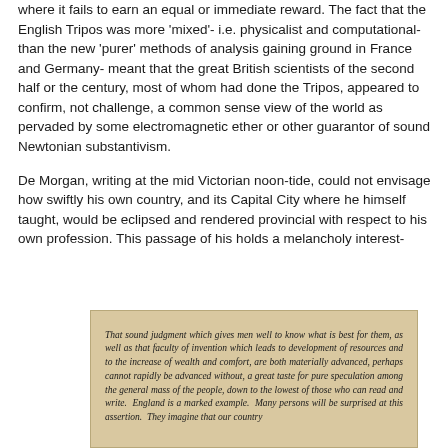where it fails to earn an equal or immediate reward. The fact that the English Tripos was more 'mixed'- i.e. physicalist and computational- than the new 'purer' methods of analysis gaining ground in France and Germany- meant that the great British scientists of the second half or the century, most of whom had done the Tripos, appeared to confirm, not challenge, a common sense view of the world as pervaded by some electromagnetic ether or other guarantor of sound Newtonian substantivism.
De Morgan, writing at the mid Victorian noon-tide, could not envisage how swiftly his own country, and its Capital City where he himself taught, would be eclipsed and rendered provincial with respect to his own profession. This passage of his holds a melancholy interest-
[Figure (other): A scanned excerpt from an old printed book or document with yellowed/tan background. The text reads in italic serif font: 'That sound judgment which gives men well to know what is best for them, as well as that faculty of invention which leads to development of resources and to the increase of wealth and comfort, are both materially advanced, perhaps cannot rapidly be advanced without, a great taste for pure speculation among the general mass of the people, down to the lowest of those who can read and write. England is a marked example. Many persons will be surprised at this assertion. They imagine that our country']